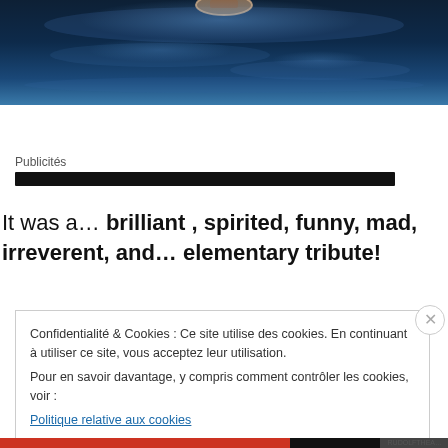[Figure (illustration): Dark blue underwater/ocean scene with moody lighting, waves, and a partial view of what appears to be a hat or circular object at the top center.]
Publicités
It was a… brilliant , spirited, funny, mad, irreverent, and… elementary tribute!
Confidentialité & Cookies : Ce site utilise des cookies. En continuant à utiliser ce site, vous acceptez leur utilisation.
Pour en savoir davantage, y compris comment contrôler les cookies, voir :
Politique relative aux cookies

Fermer et accepter